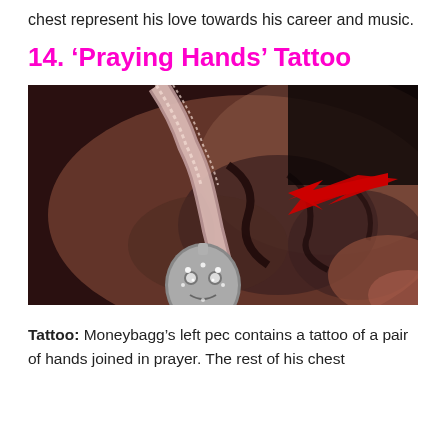chest represent his love towards his career and music.
14. ‘Praying Hands’ Tattoo
[Figure (photo): Close-up photo of a tattooed chest with red arrow annotations pointing to a praying hands tattoo, a diamond-encrusted pendant necklace visible in the foreground.]
Tattoo: Moneybagg’s left pec contains a tattoo of a pair of hands joined in prayer. The rest of his chest